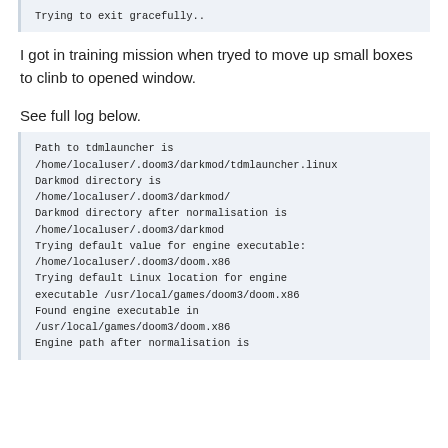Trying to exit gracefully..
I got in training mission when tryed to move up small boxes to clinb to opened window.
See full log below.
Path to tdmlauncher is
/home/localuser/.doom3/darkmod/tdmlauncher.linux
Darkmod directory is
/home/localuser/.doom3/darkmod/
Darkmod directory after normalisation is
/home/localuser/.doom3/darkmod
Trying default value for engine executable:
/home/localuser/.doom3/doom.x86
Trying default Linux location for engine executable /usr/local/games/doom3/doom.x86
Found engine executable in
/usr/local/games/doom3/doom.x86
Engine path after normalisation is